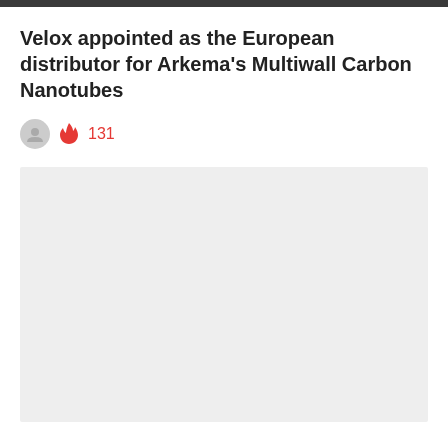Velox appointed as the European distributor for Arkema's Multiwall Carbon Nanotubes
🔥 131
[Figure (photo): Light grey rectangular placeholder image area]